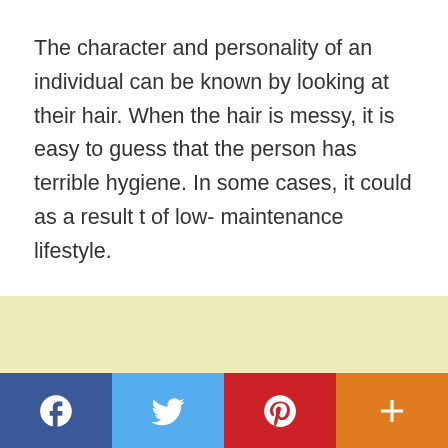The character and personality of an individual can be known by looking at their hair. When the hair is messy, it is easy to guess that the person has terrible hygiene. In some cases, it could as a result t of low- maintenance lifestyle.
[Figure (other): Advertisement placeholder area with light yellow background]
[Figure (infographic): Social media sharing bar with Facebook (blue), Twitter (light blue), Pinterest (red), and a plus/more button (orange)]